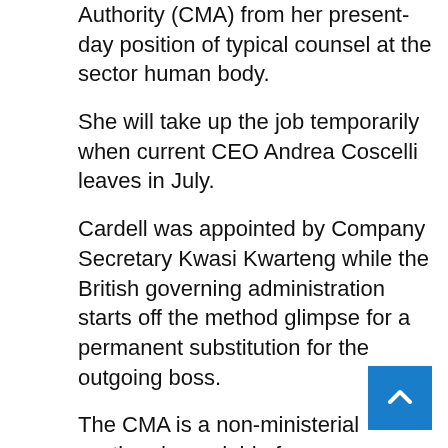Authority (CMA) from her present-day position of typical counsel at the sector human body.
She will take up the job temporarily when current CEO Andrea Coscelli leaves in July.
Cardell was appointed by Company Secretary Kwasi Kwarteng while the British governing administration starts off the method glimpse for a permanent substitution for the outgoing boss.
The CMA is a non-ministerial section dependable for implementing competition and customer legislation and carrying out investigations into mergers and markets.
Kwarteng claimed: “Sarah’s experience and abi gives a potent foundation for the CMA at a tim when their important to deli individual under the